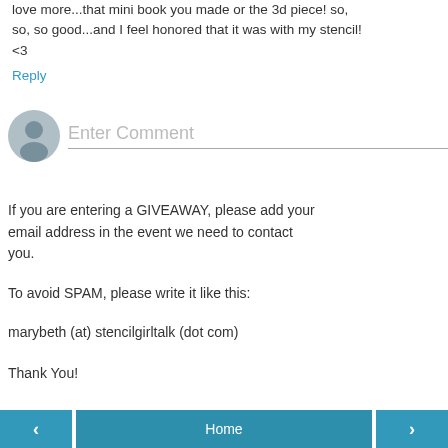love more...that mini book you made or the 3d piece! so, so, so good...and I feel honored that it was with my stencil! <3
Reply
[Figure (other): User avatar icon (grey silhouette) with an Enter Comment input field below]
If you are entering a GIVEAWAY, please add your email address in the event we need to contact you.
To avoid SPAM, please write it like this:
marybeth (at) stencilgirltalk (dot com)
Thank You!
< Home >